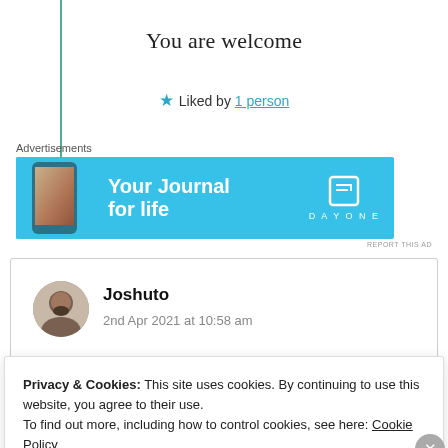You are welcome
★ Liked by 1 person
Advertisements
[Figure (illustration): DayOne app advertisement banner with phone image, text 'Your Journal for life' and DayOne logo on cyan background]
REPORT THIS AD
Joshuto
2nd Apr 2021 at 10:58 am
Privacy & Cookies: This site uses cookies. By continuing to use this website, you agree to their use.
To find out more, including how to control cookies, see here: Cookie Policy
Close and accept